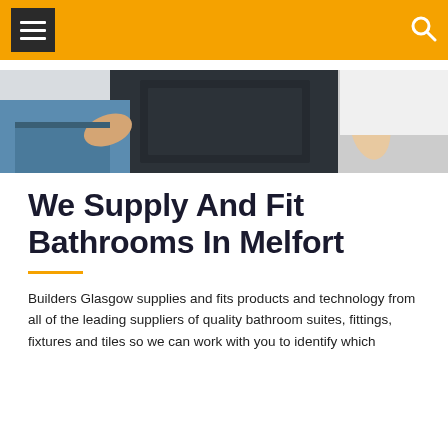[Figure (photo): Two workers installing a dark bathroom cabinet/vanity unit, one on each side, seen from waist down.]
We Supply And Fit Bathrooms In Melfort
Builders Glasgow supplies and fits products and technology from all of the leading suppliers of quality bathroom suites, fittings, fixtures and tiles so we can work with you to identify which